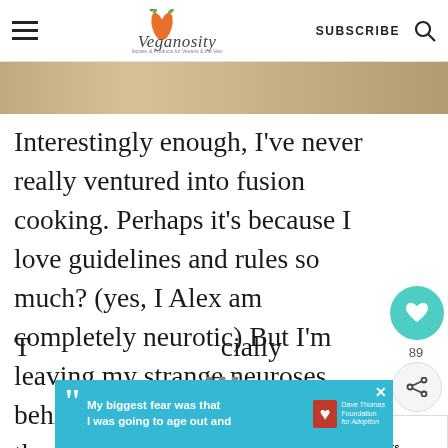Veganosity — SUBSCRIBE
[Figure (photo): Cropped food photo strip at top of article]
Interestingly enough, I've never really ventured into fusion cooking. Perhaps it's because I love guidelines and rules so much? (yes, I Alex am completely neurotic) But I'm leaving my strange neuroses behind and learning to appreciate these flavor combinations.
89
WHAT'S NEXT → Onion Confit Tartlets